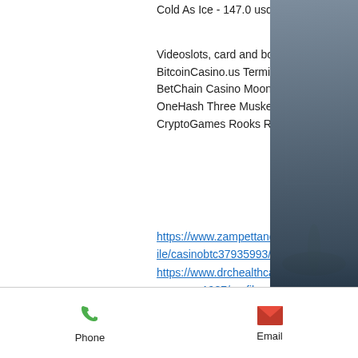Cold As Ice - 147.0 usdt
Videoslots, card and board games:
BitcoinCasino.us Terminator 2
BetChain Casino Moon Rabbit
OneHash Three Musketeers
CryptoGames Rooks Revenge
https://www.zampettando.net/community/profile/casinobtc37935993/
https://www.drchealthcare.co.kr/profile/moshesazama1987/profile
https://www.aestheticmentor.com/profile/daniellshahid1986/profile
https://lawmansection.com/activity/p/16715/
[Figure (photo): Black and white photo of a modern office building with trees in the foreground]
Phone  Email  LinkedIn  Chat